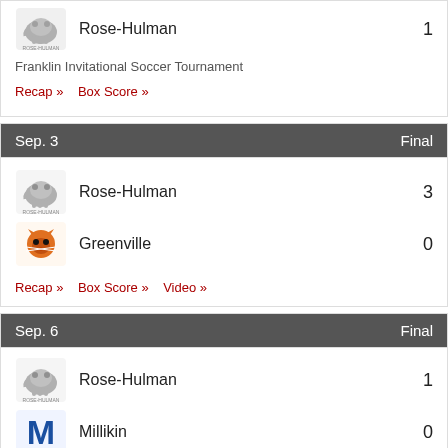Rose-Hulman 1
Franklin Invitational Soccer Tournament
Recap» Box Score»
Sep. 3   Final
Rose-Hulman 3
Greenville 0
Recap» Box Score» Video»
Sep. 6   Final
Rose-Hulman 1
Millikin 0
Recap» Box Score»
Sep. ...